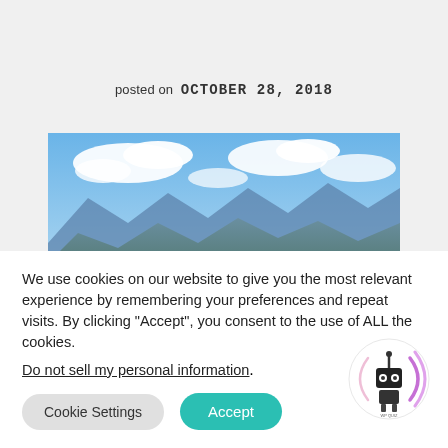posted on OCTOBER 28, 2018
[Figure (photo): Person standing on a hilltop with arms spread wide, facing a scenic mountain and green valley landscape under a cloudy blue sky.]
We use cookies on our website to give you the most relevant experience by remembering your preferences and repeat visits. By clicking "Accept", you consent to the use of ALL the cookies.
Do not sell my personal information.
[Figure (logo): Circular logo with a robot/antenna icon and purple/pink arc signal lines around it.]